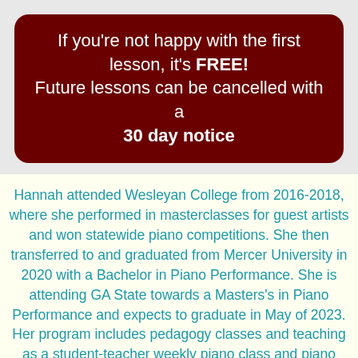If you're not happy with the first lesson, it's FREE! Future lessons can be cancelled with a 30 day notice
Hannah attended Wesleyan College from 2016-2018, where she performed in masterclasses for guest artists and won statewide piano competitions. She then transferred to and graduated from Mercer University in 2020 with a Bachelor in Piano Performance. She is attending GA State towards a Masters's in Piano Performance and expects to graduate in May of 2023. Her program includes pedagogy classes and teaching as a student-teacher weekly piano class and piano courses. She has found her new passion in teaching. At the age of 4,